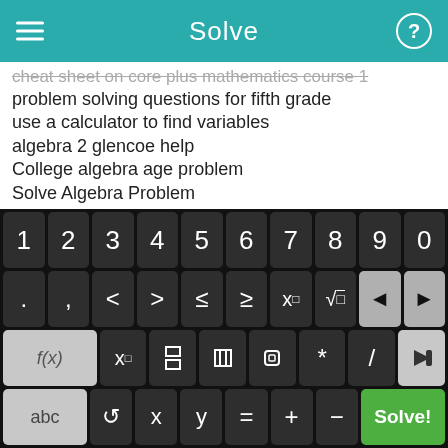Solve
cheat sheet on core plus mathematics course 1
problem solving questions for fifth grade
use a calculator to find variables
algebra 2 glencoe help
College algebra age problem
Solve Algebra Problem
online graphing calculator
year 7 maths problem solving worksheet
college algebra worksheets
how to convert mix number percents to a decimal
ks3 maths help gradient
[Figure (screenshot): Calculator keyboard with numeric row (1-9, 0), operator/comparison row (., ,, <, >, ≤, ≥, x^□, √□, backspace, forward), function row (f(x), x_□, fraction, abs, parentheses, *, /, delete), and bottom row (abc, rotate, x, y, =, +, -, Solve! button)]